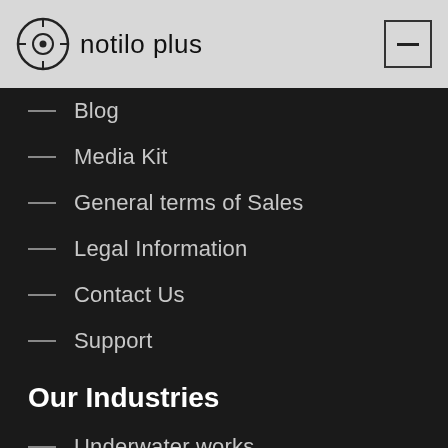notilo plus
Blog
Media Kit
General terms of Sales
Legal Information
Contact Us
Support
Our Industries
Underwater works
Inshore infrastructure
Search and rescue